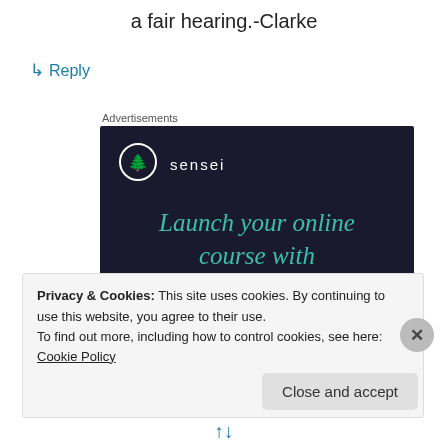a fair hearing.-Clarke
↳ Reply
Advertisements
[Figure (illustration): Sensei advertisement: dark navy background with Sensei logo (tree in circle), teal italic text 'Launch your online course with WordPress', and a teal 'Learn More' button]
Privacy & Cookies: This site uses cookies. By continuing to use this website, you agree to their use.
To find out more, including how to control cookies, see here: Cookie Policy
Close and accept